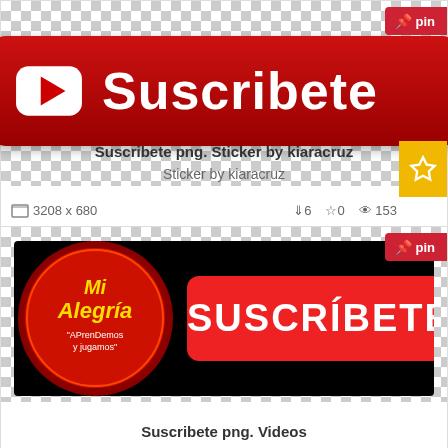[Figure (illustration): Red YouTube-style subscribe button with white play icon and bold white text 'Suscribete' on checkered background]
Suscribete png. Sticker by kiaracruz
Sticker by kiaracruz
3208 x 680   ↓6  ☆0  👁 153
[Figure (illustration): Black banner with circular Mi Alegria logo on left and red SUSCRIBETE button on right on checkered background]
Suscribete png. Videos